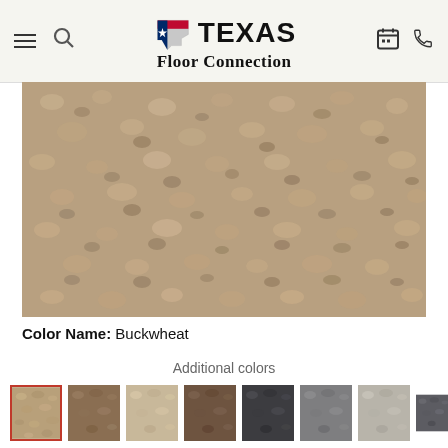Texas Floor Connection — navigation header with menu, search, logo, calendar, and phone icons
[Figure (photo): Close-up photograph of Buckwheat colored carpet texture — beige/tan loop pile carpet]
Color Name: Buckwheat
Additional colors
[Figure (photo): Row of 8 carpet color swatches. First swatch (Buckwheat, beige/tan) has a red border indicating selection. Remaining swatches show progressively darker colors: medium tan, light beige, medium brown, dark charcoal, medium gray, light gray, dark gray.]